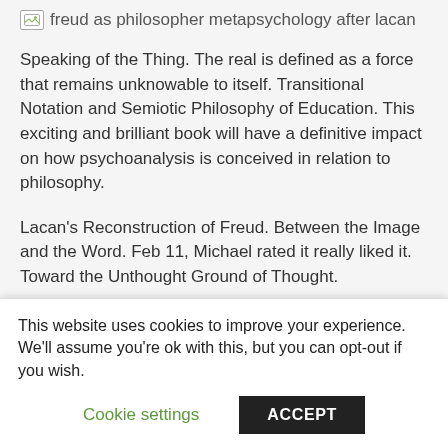[Figure (other): Broken image icon placeholder with alt text 'freud as philosopher metapsychology after lacan']
Speaking of the Thing. The real is defined as a force that remains unknowable to itself. Transitional Notation and Semiotic Philosophy of Education. This exciting and brilliant book will have a definitive impact on how psychoanalysis is conceived in relation to philosophy.
Lacan's Reconstruction of Freud. Between the Image and the Word. Feb 11, Michael rated it really liked it. Toward the Unthought Ground of Thought.
[Figure (screenshot): Black video player bar with grey play button circle]
This website uses cookies to improve your experience. We'll assume you're ok with this, but you can opt-out if you wish.
Cookie settings    ACCEPT